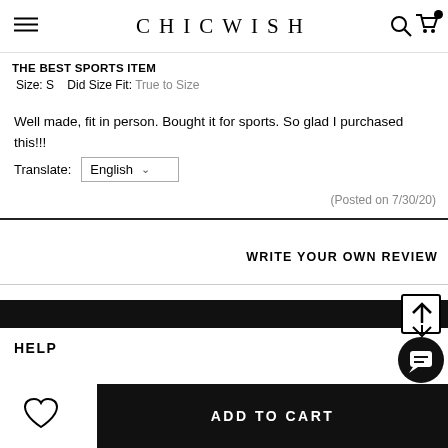CHICWISH
THE BEST SPORTS ITEM
Size: S  Did Size Fit: True to Size
Well made, fit in person. Bought it for sports. So glad I purchased this!!!
Translate: English
(Posted on 7/30/20)
WRITE YOUR OWN REVIEW
HELP
ADD TO CART